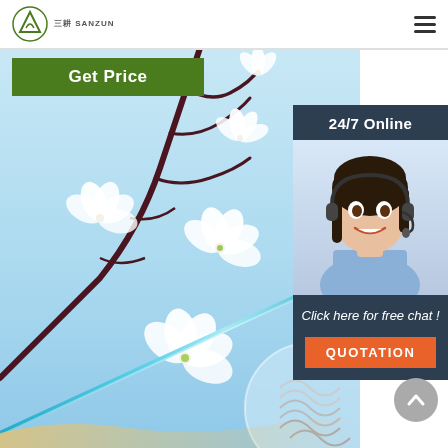SANZUN logo and navigation
Get Price
[Figure (photo): Cherry blossom flowers on branches with a blue glass acupuncture needle on light blue background, with a circular inset showing a spiral/coil detail]
[Figure (photo): Woman with headset smiling, representing 24/7 online customer support]
24/7 Online
Click here for free chat !
QUOTATION